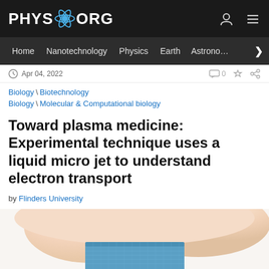PHYS.ORG
Home | Nanotechnology | Physics | Earth | Astronomy
Apr 04, 2022
Biology \ Biotechnology
Biology \ Molecular & Computational biology
Toward plasma medicine: Experimental technique uses a liquid micro jet to understand electron transport
by Flinders University
[Figure (photo): Close-up photo of a finger with a blue bandage/wrap on it, against a white background]